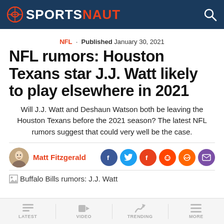SPORTSNAUT
NFL · Published January 30, 2021
NFL rumors: Houston Texans star J.J. Watt likely to play elsewhere in 2021
Will J.J. Watt and Deshaun Watson both be leaving the Houston Texans before the 2021 season? The latest NFL rumors suggest that could very well be the case.
Matt Fitzgerald
[Figure (photo): Buffalo Bills rumors: J.J. Watt article image placeholder]
LATEST | VIDEO | TRENDING | MORE